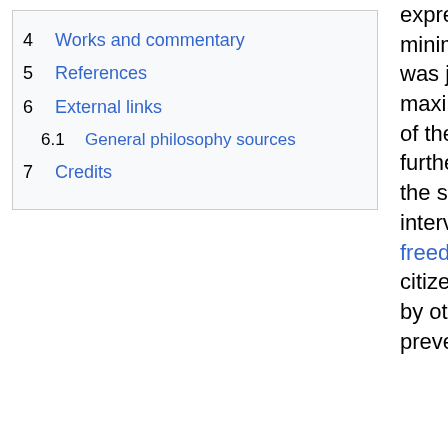4   Works and commentary
5   References
6   External links
6.1   General philosophy sources
7   Credits
expressed belief that a minimal government was justified because it maximizes the freedom of the individual. He further contended that the state could intervene to prevent the freedom of some citizens being curtailed by others, and to prevent all